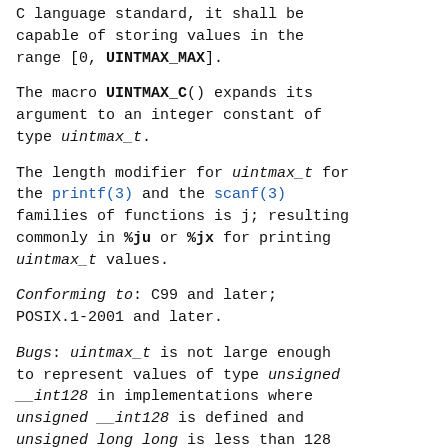C language standard, it shall be capable of storing values in the range [0, UINTMAX_MAX].
The macro UINTMAX_C() expands its argument to an integer constant of type uintmax_t.
The length modifier for uintmax_t for the printf(3) and the scanf(3) families of functions is j; resulting commonly in %ju or %jx for printing uintmax_t values.
Conforming to: C99 and later; POSIX.1-2001 and later.
Bugs: uintmax_t is not large enough to represent values of type unsigned __int128 in implementations where unsigned __int128 is defined and unsigned long long is less than 128 bits wide.